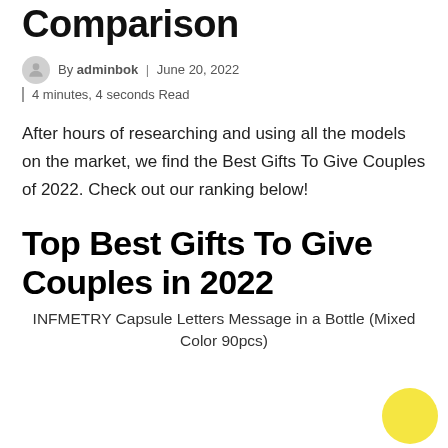Comparison
By adminbok | June 20, 2022
4 minutes, 4 seconds Read
After hours of researching and using all the models on the market, we find the Best Gifts To Give Couples of 2022. Check out our ranking below!
Top Best Gifts To Give Couples in 2022
INFMETRY Capsule Letters Message in a Bottle (Mixed Color 90pcs)